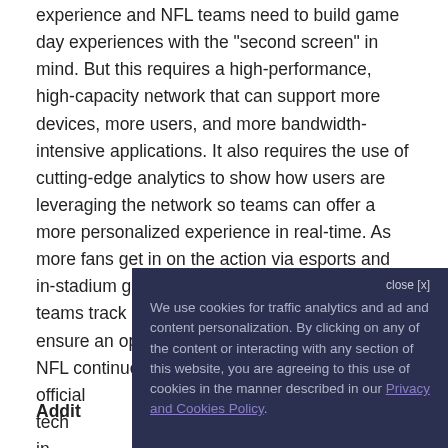experience and NFL teams need to build game day experiences with the "second screen" in mind. But this requires a high-performance, high-capacity network that can support more devices, more users, and more bandwidth-intensive applications. It also requires the use of cutting-edge analytics to show how users are leveraging the network so teams can offer a more personalized experience in real-time. As more fans get in on the action via esports and in-stadium gambling, analytics also help IT teams track and address performance issues to ensure an optimal experience. That's why the NFL continues to choose Extreme as its official ... t Wi-Fi tec... ads the in... experi...
[Figure (screenshot): Cookie consent overlay popup with dark navy background. Contains 'close [x]' button at top right and text: 'We use cookies for traffic analytics and ad and content personalization. By clicking on any of the content or interacting with any section of this website, you are agreeing to this use of cookies in the manner described in our Privacy and Cookies Policy.']
Addit...